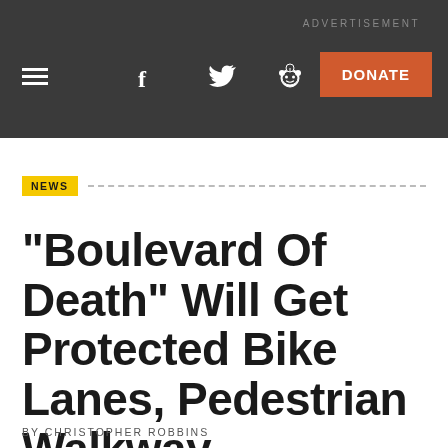ADVERTISEMENT
≡  f  🐦  👽  ✉  DONATE
NEWS
"Boulevard Of Death" Will Get Protected Bike Lanes, Pedestrian Walkway
BY CHRISTOPHER ROBBINS